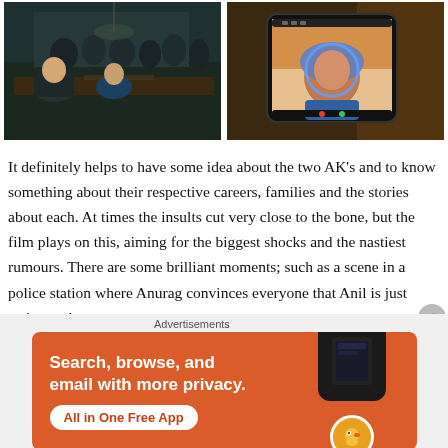[Figure (photo): Two side-by-side film stills: left shows a police station scene with several people around a table in dark teal lighting; right shows a woman on a video call displayed on a tablet screen with warm brown/orange tones.]
It definitely helps to have some idea about the two AK's and to know something about their respective careers, families and the stories about each. At times the insults cut very close to the bone, but the film plays on this, aiming for the biggest shocks and the nastiest rumours. There are some brilliant moments; such as a scene in a police station where Anurag convinces everyone that Anil is just acting and an
[Figure (advertisement): DuckDuckGo advertisement banner with orange background. Text: 'Search, browse, and email with more privacy. All in One Free App' with DuckDuckGo logo and phone graphic.]